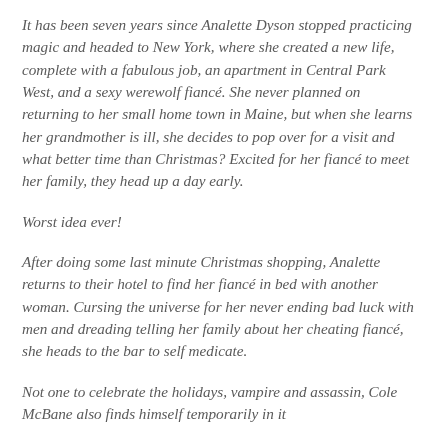It has been seven years since Analette Dyson stopped practicing magic and headed to New York, where she created a new life, complete with a fabulous job, an apartment in Central Park West, and a sexy werewolf fiancé. She never planned on returning to her small home town in Maine, but when she learns her grandmother is ill, she decides to pop over for a visit and what better time than Christmas? Excited for her fiancé to meet her family, they head up a day early.
Worst idea ever!
After doing some last minute Christmas shopping, Analette returns to their hotel to find her fiancé in bed with another woman. Cursing the universe for her never ending bad luck with men and dreading telling her family about her cheating fiancé, she heads to the bar to self medicate.
Not one to celebrate the holidays, vampire and assassin, Cole McBane also finds himself temporarily in it